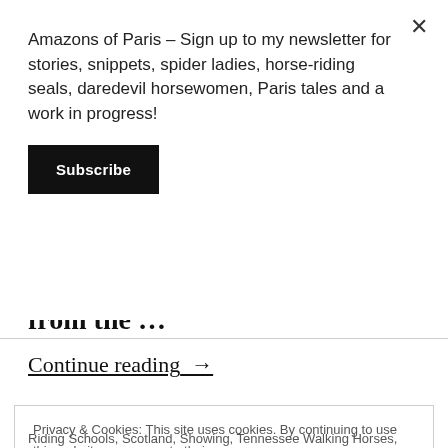Amazons of Paris – Sign up to my newsletter for stories, snippets, spider ladies, horse-riding seals, daredevil horsewomen, Paris tales and a work in progress!
Subscribe
from the …
Continue reading →
Privacy & Cookies: This site uses cookies. By continuing to use this website, you agree to their use.
To find out more, including how to control cookies, see here: Cookie Policy
Close and accept
Riding Schools, Scotland, Showing, Tennessee Walking Horses,